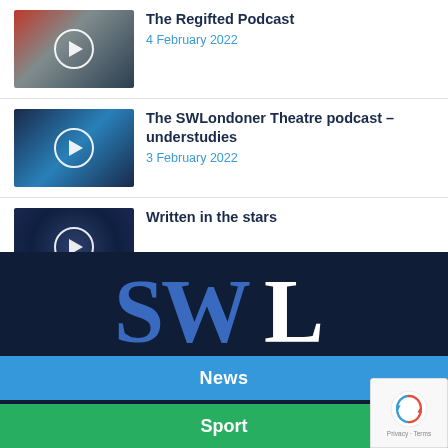[Figure (screenshot): Thumbnail image with play button overlay for The Regifted Podcast article]
The Regifted Podcast
4 February 2022
[Figure (screenshot): Thumbnail image with play button overlay for The SWLondoner Theatre podcast article]
The SWLondoner Theatre podcast – understudies
3 February 2022
[Figure (screenshot): Thumbnail image with play button overlay for Written in the stars article]
Written in the stars
[Figure (logo): SWL logo on dark navy background — SW in blue, L in white, large serif font]
News
Sport